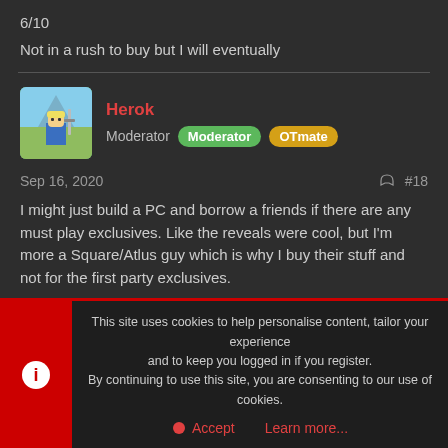6/10
Not in a rush to buy but I will eventually
Herok
Moderator Moderator OTmate
Sep 16, 2020  #18
I might just build a PC and borrow a friends if there are any must play exclusives. Like the reveals were cool, but I'm more a Square/Atlus guy which is why I buy their stuff and not for the first party exclusives.
This site uses cookies to help personalise content, tailor your experience and to keep you logged in if you register.
By continuing to use this site, you are consenting to our use of cookies.
Accept  Learn more...